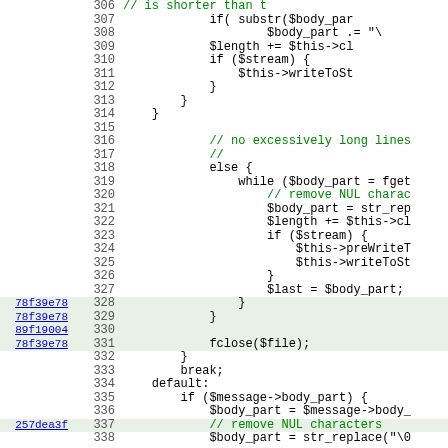Source code viewer showing PHP code lines 306-338 with annotations and line numbers. Lines 328, 329, 331 annotated with 78f39e78; line 330 with 89f19004; line 337 with 257dea3f.